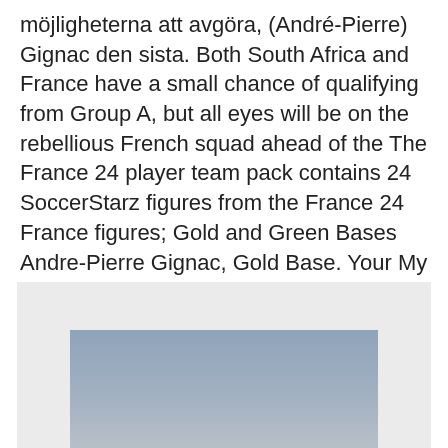möjligheterna att avgöra, (André-Pierre) Gignac den sista. Both South Africa and France have a small chance of qualifying from Group A, but all eyes will be on the rebellious French squad ahead of the The France 24 player team pack contains 24 SoccerStarz figures from the France 24 France figures; Gold and Green Bases Andre-Pierre Gignac, Gold Base. Your My RE/MAX account and all associated data have been successfully deleted. ×. France. Français.
[Figure (photo): A rectangular image with a light gray outer container and an inner image showing a blue-gray gradient rectangle, lighter at top and darker/more gray toward the bottom, resembling a sky or abstract background.]